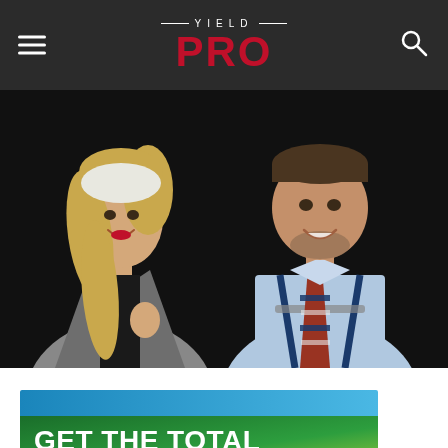YIELD PRO
[Figure (photo): Two smiling business professionals against a dark background: a woman with long blonde hair wearing a grey blazer over black top, and a man in a light blue shirt with navy suspenders and a striped red and navy tie.]
[Figure (illustration): Advertisement banner with blue gradient top and green gradient bottom reading 'GET THE TOTAL PACKAGE with']